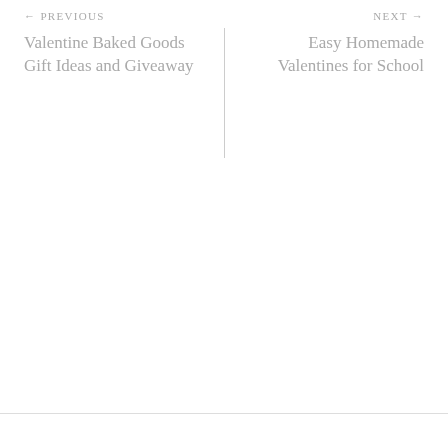← PREVIOUS
NEXT →
Valentine Baked Goods Gift Ideas and Giveaway
Easy Homemade Valentines for School